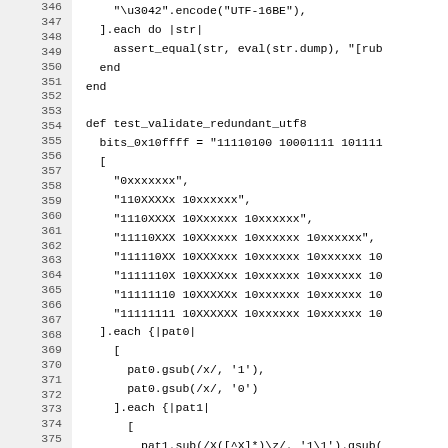[Figure (screenshot): Source code snippet in Ruby, lines 346–375, showing UTF-8 encoding test methods with line numbers in a grey gutter on the left.]